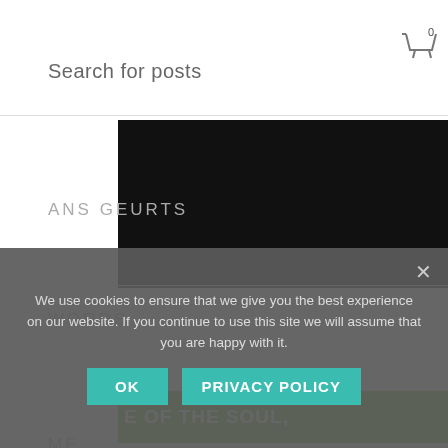Search for posts
[Figure (screenshot): Black image block in top right corner]
ANS GEURTS
WORDS
[Figure (other): Green button with text 'E OF THE SOUL,']
act
ME
ART
CONTACT
[Figure (photo): Wooden surface photo in bottom right]
We use cookies to ensure that we give you the best experience on our website. If you continue to use this site we will assume that you are happy with it.
OK
PRIVACY POLICY